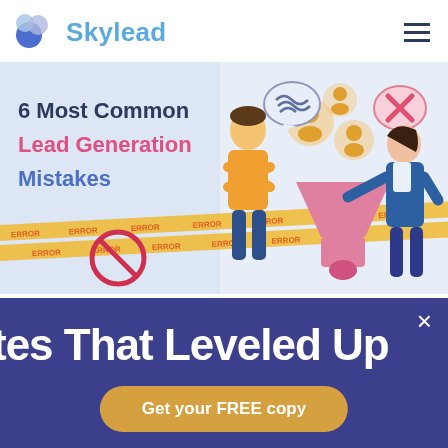[Figure (logo): Skylead logo with blue cloud/circle icon and text 'Skylead' in light blue]
[Figure (illustration): Blog post header image: '6 Most Common Lead Generation Mistakes' with illustrated characters, a funnel, people icons, error tape, and a no-symbol on a light blue background]
We use cookies on our website to give you the most relevant experience by remembering your preferences and repeat visits. By clicking "Accept All"
tes That Leveled Up
Get your FREE copy